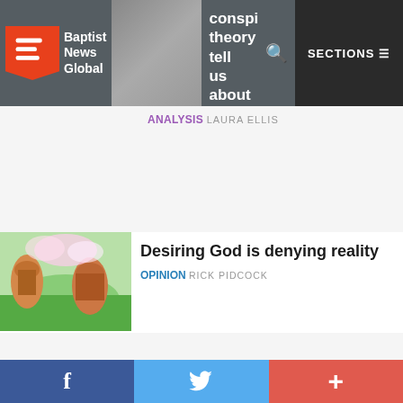Baptist News Global | conspiracy theory tell us about why Gen Z is sleeping in Sundays | ANALYSIS LAURA ELLIS | SECTIONS
Desiring God is denying reality
OPINION RICK PIDCOCK
Faith compels the World Food Bank with supply chain, investment and agricultural engineering experts
NEWS JEFF BRUMLEY
Seven years later, Will McRaney
f | Twitter bird | +